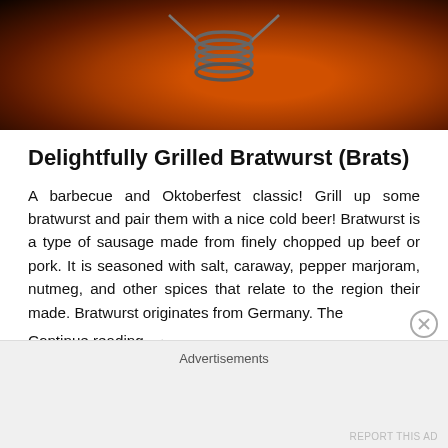[Figure (photo): Close-up photo of an orange/red metallic object (possibly a grill or kettle) with a coil/spring and wire handle visible, against a dark background.]
Delightfully Grilled Bratwurst (Brats)
A barbecue and Oktoberfest classic! Grill up some bratwurst and pair them with a nice cold beer! Bratwurst is a type of sausage made from finely chopped up beef or pork. It is seasoned with salt, caraway, pepper marjoram, nutmeg, and other spices that relate to the region their made. Bratwurst originates from Germany. The
Continue reading  →
Advertisements